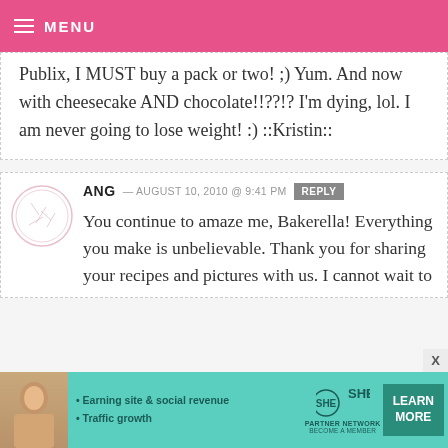MENU
Publix, I MUST buy a pack or two! ;) Yum. And now with cheesecake AND chocolate!!??!? I’m dying, lol. I am never going to lose weight! :) ::Kristin::
ANG — AUGUST 10, 2010 @ 9:41 PM REPLY
You continue to amaze me, Bakerella! Everything you make is unbelievable. Thank you for sharing your recipes and pictures with us. I cannot wait to
[Figure (infographic): SHE Partner Network advertisement banner with teal background, woman photo, bullet points about earning site & social revenue and traffic growth, SHE logo, and Learn More button]